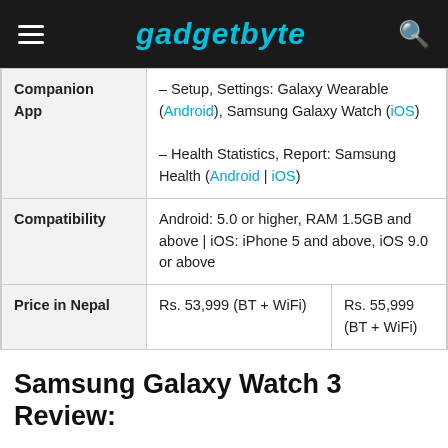gadgetbyte
| Feature | Details |
| --- | --- |
| Companion App | – Setup, Settings: Galaxy Wearable (Android), Samsung Galaxy Watch (iOS)
– Health Statistics, Report: Samsung Health (Android | iOS) |
| Compatibility | Android: 5.0 or higher, RAM 1.5GB and above | iOS: iPhone 5 and above, iOS 9.0 or above |
| Price in Nepal | Rs. 53,999 (BT + WiFi) | Rs. 55,999 (BT + WiFi) |
Samsung Galaxy Watch 3 Review: